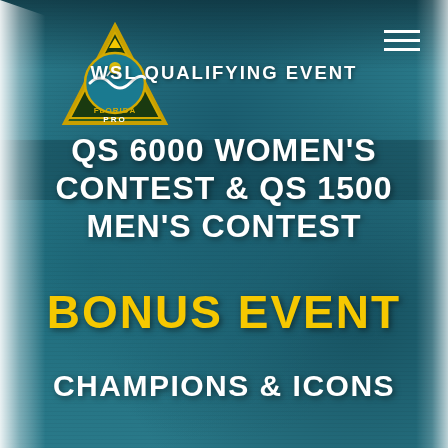[Figure (logo): Florida Pro surfing event logo — triangular badge with wave and shark design, gold and teal colors]
WSL QUALIFYING EVENT
QS 6000 WOMEN'S CONTEST & QS 1500 MEN'S CONTEST
BONUS EVENT
CHAMPIONS & ICONS